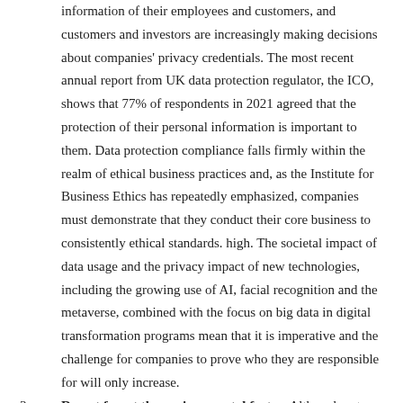information of their employees and customers, and customers and investors are increasingly making decisions about companies' privacy credentials. The most recent annual report from UK data protection regulator, the ICO, shows that 77% of respondents in 2021 agreed that the protection of their personal information is important to them. Data protection compliance falls firmly within the realm of ethical business practices and, as the Institute for Business Ethics has repeatedly emphasized, companies must demonstrate that they conduct their core business to consistently ethical standards. high. The societal impact of data usage and the privacy impact of new technologies, including the growing use of AI, facial recognition and the metaverse, combined with the focus on big data in digital transformation programs mean that it is imperative and the challenge for companies to prove who they are responsible for will only increase.
Do not forget the environmental factors Although not so immediately apparent, privacy is also environmentally relevant. Climate change is one of the highest priority factors